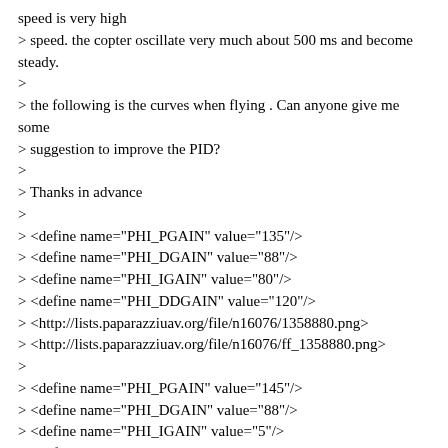speed is very high
> speed. the copter oscillate very much about 500 ms and become steady.
>
> the following is the curves when flying . Can anyone give me some
> suggestion to improve the PID?
>
> Thanks in advance
>
> <define name="PHI_PGAIN" value="135"/>
> <define name="PHI_DGAIN" value="88"/>
> <define name="PHI_IGAIN" value="80"/>
> <define name="PHI_DDGAIN" value="120"/>
> <http://lists.paparazziuav.org/file/n16076/1358880.png>
> <http://lists.paparazziuav.org/file/n16076/ff_1358880.png>
>
> <define name="PHI_PGAIN" value="145"/>
> <define name="PHI_DGAIN" value="88"/>
> <define name="PHI_IGAIN" value="5"/>
> <define name="PHI_DDGAIN" value="120"/>
> <http://lists.paparazziuav.org/file/n16076/1458805.png>
> <http://lists.paparazziuav.org/file/n16076/ff1458805.png>
>
>
>